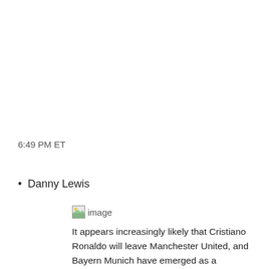6:49 PM ET
Danny Lewis
[Figure (photo): Broken image placeholder with alt text 'image']
It appears increasingly likely that Cristiano Ronaldo will leave Manchester United, and Bayern Munich have emerged as a potential suitor. Bryn Lennon/Getty Images